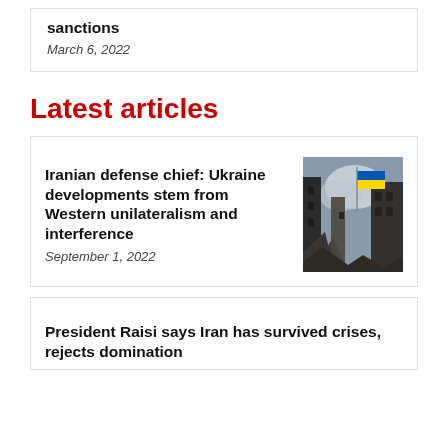sanctions
March 6, 2022
Latest articles
Iranian defense chief: Ukraine developments stem from Western unilateralism and interference
September 1, 2022
[Figure (photo): A Ukrainian flag visible among bombed-out ruins, grey sky in background]
President Raisi says Iran has survived crises, rejects domination